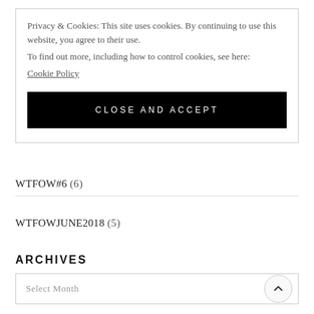Privacy & Cookies: This site uses cookies. By continuing to use this website, you agree to their use. To find out more, including how to control cookies, see here: Cookie Policy
CLOSE AND ACCEPT
WTFOW#6 (6)
WTFOWJUNE2018 (5)
ARCHIVES
Select Month